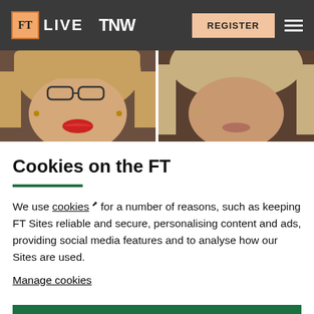FT LIVE | TNW | REGISTER
[Figure (photo): Two women photographed from nose down, cropped headshots side by side. Left woman has blonde hair and red lipstick. Right woman has blonde/grey hair.]
Cookies on the FT
We use cookies for a number of reasons, such as keeping FT Sites reliable and secure, personalising content and ads, providing social media features and to analyse how our Sites are used.
Manage cookies
Accept & continue